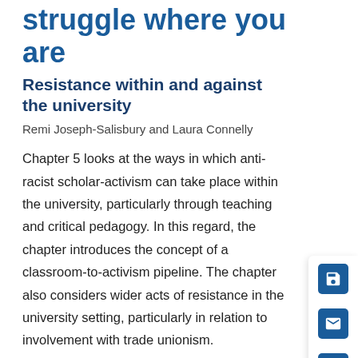struggle where you are
Resistance within and against the university
Remi Joseph-Salisbury and Laura Connelly
Chapter 5 looks at the ways in which anti-racist scholar-activism can take place within the university, particularly through teaching and critical pedagogy. In this regard, the chapter introduces the concept of a classroom-to-activism pipeline. The chapter also considers wider acts of resistance in the university setting, particularly in relation to involvement with trade unionism.
Throughout the chapter, consideration is